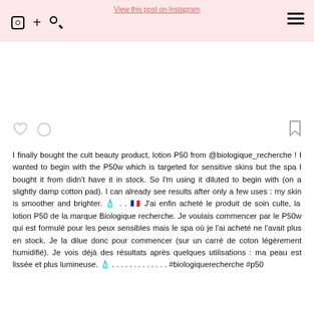View this post on Instagram
I finally bought the cult beauty product, lotion P50 from @biologique_recherche ! I wanted to begin with the P50w which is targeted for sensitive skins but the spa I bought it from didn't have it in stock. So I'm using it diluted to begin with (on a slightly damp cotton pad). I can already see results after only a few uses : my skin is smoother and brighter. 🧴 . . 🇫🇷 J'ai enfin acheté le produit de soin culte, la lotion P50 de la marque Biologique recherche. Je voulais commencer par le P50w qui est formulé pour les peux sensibles mais le spa où je l'ai acheté ne l'avait plus en stock. Je la dilue donc pour commencer (sur un carré de coton légèrement humidifié). Je vois déjà des résultats après quelques utilisations : ma peau est lissée et plus lumineuse. 🧴 . . . . . . . . . . . . . #biologiquerecherche #p50